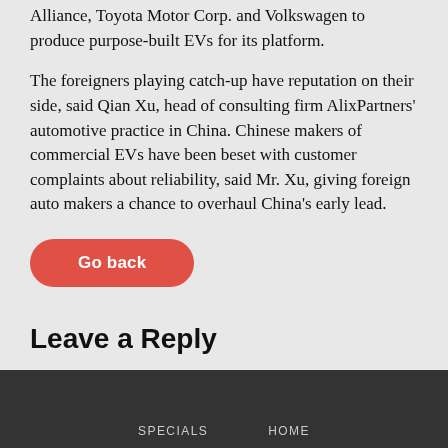Alliance, Toyota Motor Corp. and Volkswagen to produce purpose-built EVs for its platform.
The foreigners playing catch-up have reputation on their side, said Qian Xu, head of consulting firm AlixPartners' automotive practice in China. Chinese makers of commercial EVs have been beset with customer complaints about reliability, said Mr. Xu, giving foreign auto makers a chance to overhaul China's early lead.
Go back
Leave a Reply
You must be logged in to post a comment.
SPECIALS   HOME